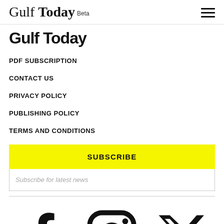Gulf Today Beta
Gulf Today
PDF SUBSCRIPTION
CONTACT US
PRIVACY POLICY
PUBLISHING POLICY
TERMS AND CONDITIONS
SUBSCRIBE
Subscribe for latest news
[Figure (other): Social media icons: Facebook, Instagram, Twitter/X]